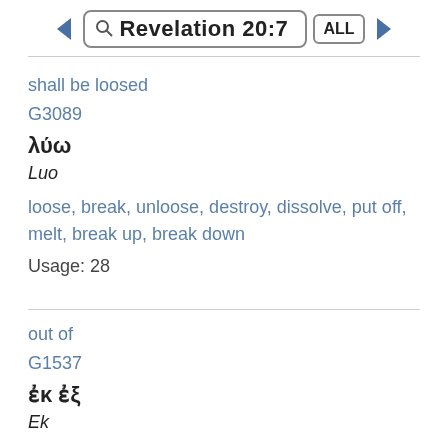Revelation 20:7
shall be loosed
G3089
λύω
Luo
loose, break, unloose, destroy, dissolve, put off, melt, break up, break down
Usage: 28
out of
G1537
ἐκ ἐξ
Ek